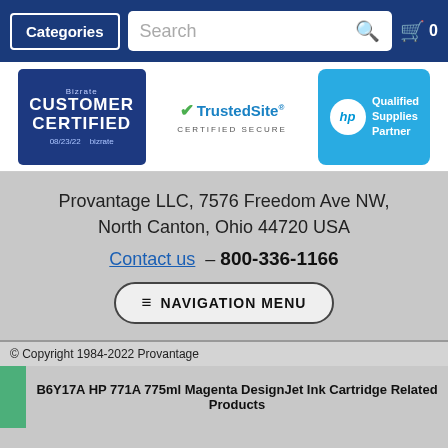Categories   Search   0
[Figure (logo): Bizrate Customer Certified badge dated 08/23/22]
[Figure (logo): TrustedSite Certified Secure badge]
[Figure (logo): HP Qualified Supplies Partner badge]
Provantage LLC, 7576 Freedom Ave NW, North Canton, Ohio 44720 USA
Contact us – 800-336-1166
NAVIGATION MENU
© Copyright 1984-2022 Provantage
B6Y17A HP 771A 775ml Magenta DesignJet Ink Cartridge Related Products